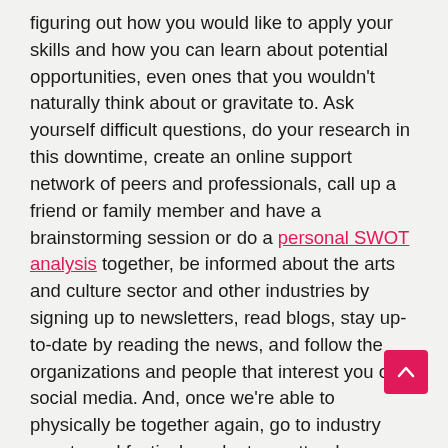figuring out how you would like to apply your skills and how you can learn about potential opportunities, even ones that you wouldn't naturally think about or gravitate to. Ask yourself difficult questions, do your research in this downtime, create an online support network of peers and professionals, call up a friend or family member and have a brainstorming session or do a personal SWOT analysis together, be informed about the arts and culture sector and other industries by signing up to newsletters, read blogs, stay up-to-date by reading the news, and follow the organizations and people that interest you on social media. And, once we're able to physically be together again, go to industry events and festivals, volunteer, attend workshops and conferences, and meet up with a mentor or people that you want to learn from. Take advantage of this time and look for opportunities that excite you. For example, consider getting up from the couch every now and then to dance or do something else positive or creative, and then maybe even connect with others by posting your ideas, art projects, or dance on social media #dancingtothis2020funk. Even